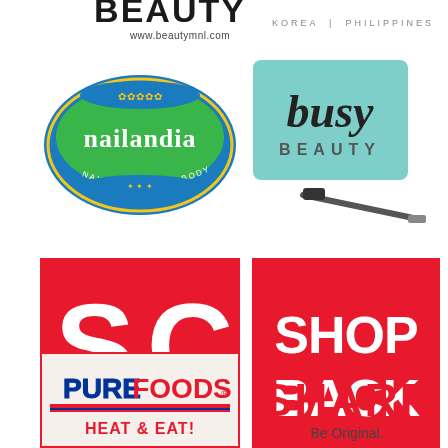[Figure (logo): BeautyMNL logo (partially visible at top) with website www.beautymnl.com]
[Figure (logo): Text reading KOREA | PHILIPPINES]
[Figure (logo): Nailandia Nail Studio and Body Spa logo - circular badge with blue/green colors]
[Figure (logo): Busy Beauty logo - teal/mint background with handwritten 'busy' text and 'BEAUTY' below]
[Figure (logo): SC logo - red square background with white SC letters]
[Figure (logo): ShopBack logo - red square with white bold text SHOP BACK]
[Figure (logo): Purefoods Heat & Eat logo - white box with red border, Purefoods branding]
[Figure (logo): Sharp logo - red bold SHARP text with 'Be Original.' tagline below]